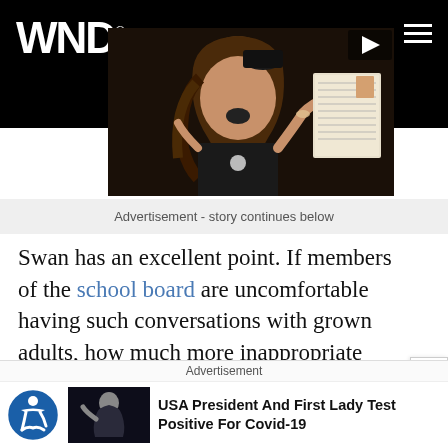WND
[Figure (photo): A woman speaking animatedly at what appears to be a school board meeting, holding up a book or document]
Advertisement - story continues below
Swan has an excellent point. If members of the school board are uncomfortable having such conversations with grown adults, how much more inappropriate would it be to teach those concepts to young children without the
Advertisement
USA President And First Lady Test Positive For Covid-19